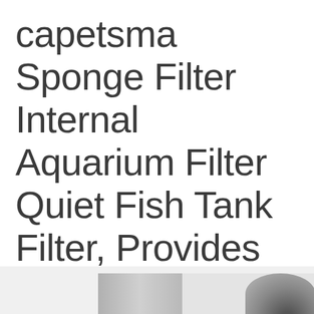capetsma Sponge Filter Internal Aquarium Filter Quiet Fish Tank Filter, Provides Physical and Biolog...
[Figure (photo): Product photo showing a sponge aquarium filter on a light gray background, partially visible at the bottom of the page]